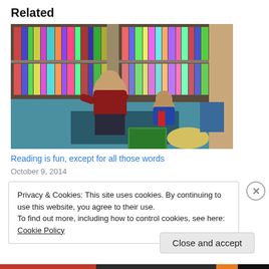Related
[Figure (photo): Two children sitting on a blue carpet in a library, reading books, with bookshelves full of colorful books in the background.]
Reading is fun, except for all those words
October 9, 2014
Privacy & Cookies: This site uses cookies. By continuing to use this website, you agree to their use.
To find out more, including how to control cookies, see here: Cookie Policy